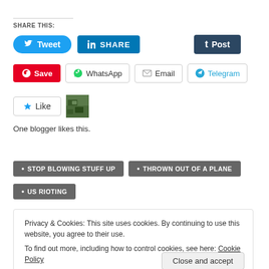SHARE THIS:
[Figure (screenshot): Social share buttons: Tweet (Twitter/blue), SHARE (LinkedIn/blue), Post (Tumblr/dark)]
[Figure (screenshot): Social share buttons: Save (Pinterest/red), WhatsApp, Email, Telegram]
[Figure (screenshot): Like button with star icon and blogger avatar image]
One blogger likes this.
STOP BLOWING STUFF UP
THROWN OUT OF A PLANE
US RIOTING
Privacy & Cookies: This site uses cookies. By continuing to use this website, you agree to their use.
To find out more, including how to control cookies, see here: Cookie Policy